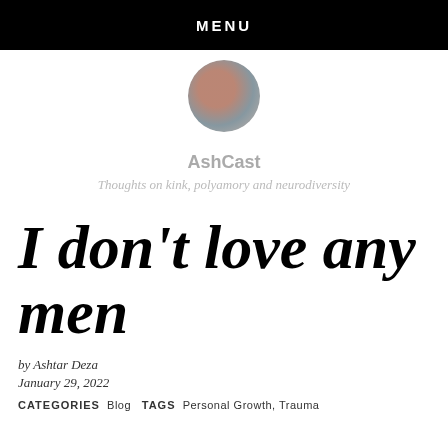MENU
[Figure (photo): Circular avatar image with colorful abstract/artistic photo, displayed in a rounded circle]
AshCast
Thoughts on kink, polyamory and neurodiversity
I don’t love any men
by Ashtar Deza
January 29, 2022
CATEGORIES Blog TAGS Personal Growth, Trauma